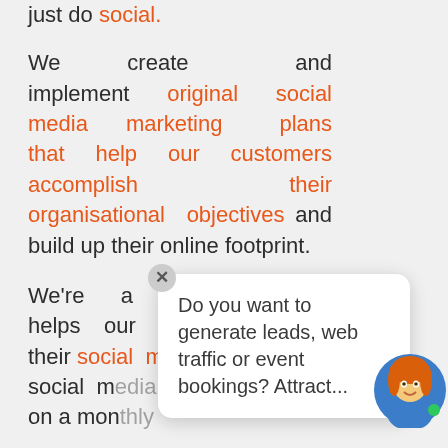just do social.
We create and implement original social media marketing plans that help our customers accomplish their organisational objectives and build up their online footprint.
We're a company that helps our customers further their social media presence ... social m... on a mon...
Do you want to generate leads, web traffic or event bookings? Attract...
You might like to th...